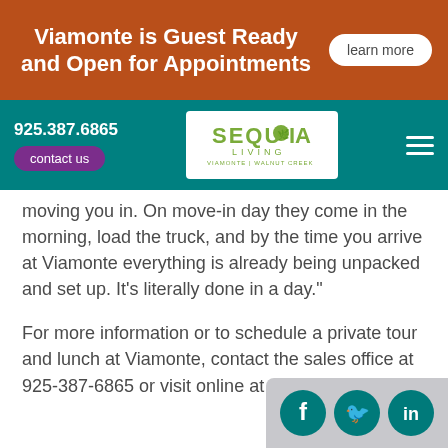Viamonte is Guest Ready and Open for Appointments | learn more
[Figure (logo): Sequoia Living logo with Viamonte Walnut Creek tagline, navigation bar with phone number 925.387.6865 and contact us button]
moving you in. On move-in day they come in the morning, load the truck, and by the time you arrive at Viamonte everything is already being unpacked and set up. It's literally done in a day."
For more information or to schedule a private tour and lunch at Viamonte, contact the sales office at 925-387-6865 or visit online at viamonteliving.org.
[Figure (infographic): Social media icons: Facebook, Twitter, LinkedIn in teal circles on grey background]